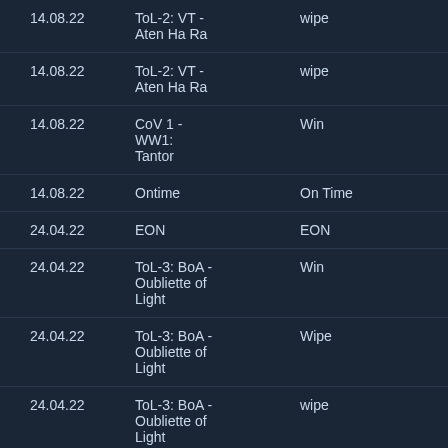| Date | Name | Result | Count |
| --- | --- | --- | --- |
| 14.08.22 | ToL-2: VT - Aten Ha Ra | wipe | 1 |
| 14.08.22 | ToL-2: VT - Aten Ha Ra | wipe | 1 |
| 14.08.22 | CoV 1 - WW1: Tantor | Win | 3 |
| 14.08.22 | Ontime | On Time | 5 |
| 24.04.22 | EON | EON | 5 |
| 24.04.22 | ToL-3: BoA - Oubliette of Light | Win | 3 |
| 24.04.22 | ToL-3: BoA - Oubliette of Light | Wipe | 1 |
| 24.04.22 | ToL-3: BoA - Oubliette of Light | wipe | 1 |